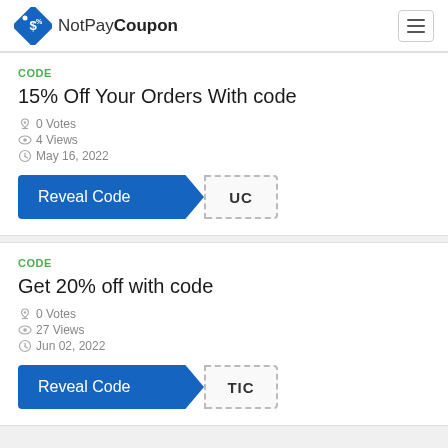NotPayCoupon
CODE
15% Off Your Orders With code
0 Votes
4 Views
May 16, 2022
Reveal Code UC
CODE
Get 20% off with code
0 Votes
27 Views
Jun 02, 2022
Reveal Code TIC